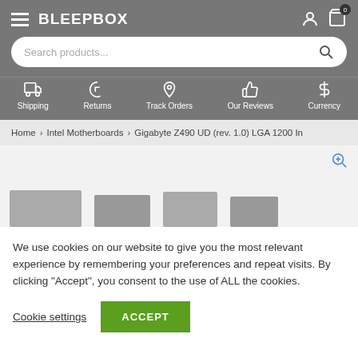BLEEPBOX
[Figure (screenshot): Search bar with placeholder text 'Search products...']
Shipping | Returns | Track Orders | Our Reviews | Currency
Home > Intel Motherboards > Gigabyte Z490 UD (rev. 1.0) LGA 1200 In
[Figure (photo): Product thumbnail images of Gigabyte Z490 UD motherboard]
We use cookies on our website to give you the most relevant experience by remembering your preferences and repeat visits. By clicking "Accept", you consent to the use of ALL the cookies.
Cookie settings  ACCEPT